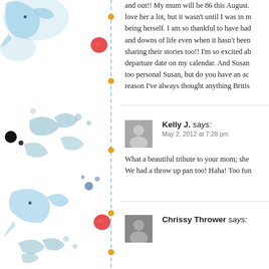and out!! My mum will be 86 this August. I love her a lot, but it wasn't until I was in m... being herself. I am so thankful to have had... and downs of life even when it hasn't been... sharing their stories too!! I'm so excited ab... departure date on my calendar. And Susan... too personal Susan, but do you have an ac... reason I've always thought anything Britis...
Kelly J. says:
May 2, 2012 at 7:28 pm

What a beautiful tribute to your mom; she... We had a throw up pan too! Haha! Too fun...
Chrissy Thrower says: